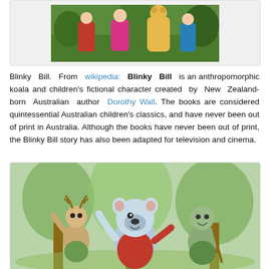[Figure (photo): Photo of people with a costumed character (yellow bear/teddy) in an outdoor setting, related to Blinky Bill live action or promotional content]
Blinky Bill. From wikipedia: Blinky Bill is an anthropomorphic koala and children's fictional character created by New Zealand-born Australian author Dorothy Wall. The books are considered quintessential Australian children's classics, and have never been out of print in Australia. Although the books have never been out of print, the Blinky Bill story has also been adapted for television and cinema.
[Figure (illustration): Animated illustration of Blinky Bill (cartoon koala in red outfit) with other animated animal characters in a forest/bush setting]